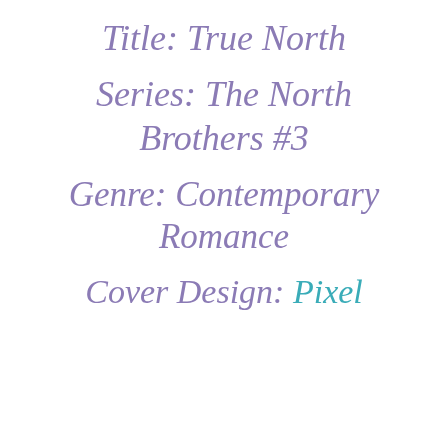Title: True North
Series: The North Brothers #3
Genre: Contemporary Romance
Cover Design: Pixel